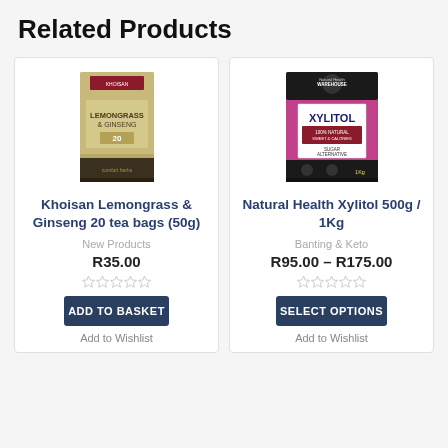Related Products
[Figure (photo): Khoisan Lemongrass & Ginseng 20 tea bags product package image]
Khoisan Lemongrass & Ginseng 20 tea bags (50g)
New Products
R35.00
ADD TO BASKET
Add to Wishlist
[Figure (photo): Natural Health Warehouse Xylitol 500g / 1Kg product package image]
Natural Health Xylitol 500g / 1Kg
Banting & Keto
R95.00 – R175.00
SELECT OPTIONS
Add to Wishlist